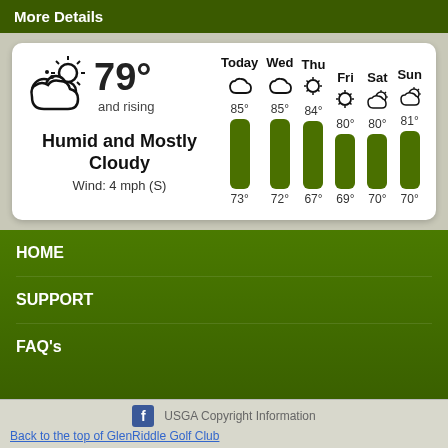More Details
[Figure (infographic): Weather widget showing current conditions and 6-day forecast. Current: 79° and rising, Humid and Mostly Cloudy, Wind: 4 mph (S). Forecast bars for Today, Wed, Thu, Fri, Sat, Sun with high/low temperatures and weather icons.]
HOME
SUPPORT
FAQ's
USGA Copyright Information
Back to the top of GlenRiddle Golf Club